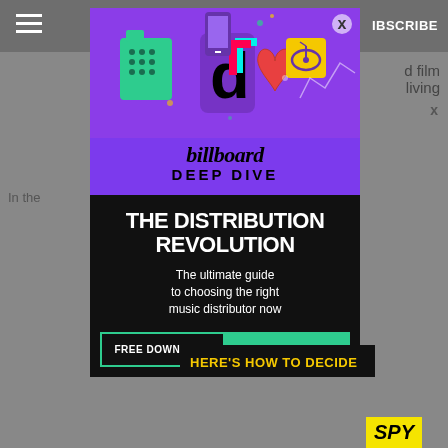SUBSCRIBE
[Figure (screenshot): Billboard Deep Dive advertisement overlay showing a promotional ad for 'The Distribution Revolution' report. Top section has purple background with TikTok and other music app icons. Billboard logo in serif italic font. Black section with large white bold title 'THE DISTRIBUTION REVOLUTION', subtitle 'The ultimate guide to choosing the right music distributor now', and two buttons: 'FREE DOWNLOAD' and 'GET THE REPORT' in teal/green. Bottom strip shows 'HERE'S HOW TO DECIDE' in yellow text.]
d film living
In the ness
HERE'S HOW TO DECIDE
SPY